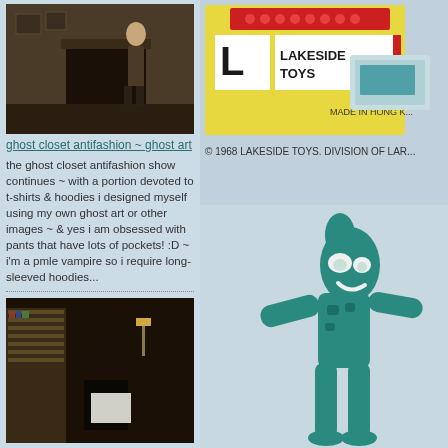[Figure (photo): Person standing in a room with fireplace and decorations]
ghost closet antifashion ~ ghost art
the ghost closet antifashion show continues ~ with a portion devoted to t-shirts & hoodies i designed myself using my own ghost art or other images ~ & yes i am obsessed with pants that have lots of pockets! :D ~ i'm a pmle vampire so i require long-sleeved hoodies...
[Figure (photo): Person sitting at desk with bookshelves in background]
ghost closet antifashion ~ music
today's ghost closet antifashion show features more of the music we love ~ with a special focus on elliott smith whose birthday was yesterday, miss you, man xo <3 ~ from my days as friendlyghost at the old...
[Figure (photo): Lakeside Toys packaging, 1968, made in Hong Kong]
[Figure (photo): Teal Gumby toy figure standing pose]